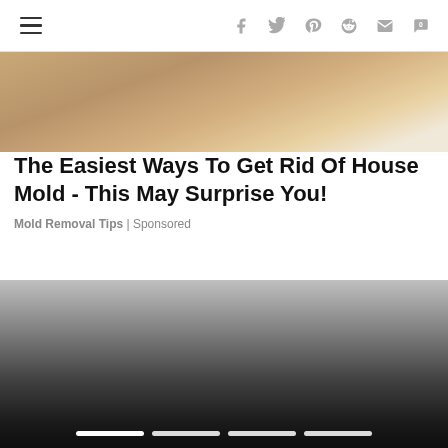Navigation and social sharing icons: hamburger menu, facebook, twitter, pinterest, reddit, email, comment
[Figure (photo): Close-up photo of wooden floor/stair edge with warm brown tones]
The Easiest Ways To Get Rid Of House Mold - This May Surprise You!
Mold Removal Tips | Sponsored
[Figure (photo): Dark gradient image, likely another article photo, with slider navigation dots at the bottom showing four white pill-shaped indicators]